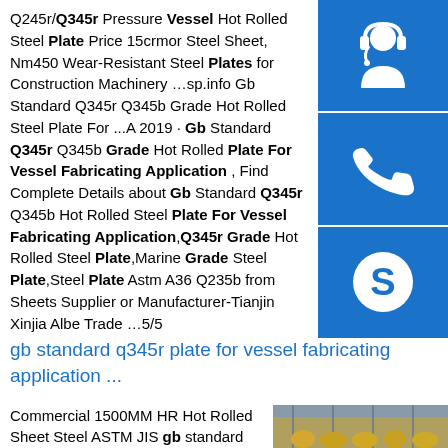Q245r/Q345r Pressure Vessel Hot Rolled Steel Plate Price 15crmor Steel Sheet, Nm450 Wear-Resistant Steel Plates for Construction Machinery …sp.info Gb Standard Q345r Q345b Grade Hot Rolled Steel Plate For ...A 2019 · Gb Standard Q345r Q345b Grade Hot Rolled Plate For Vessel Fabricating Application , Find Complete Details about Gb Standard Q345r Q345b Hot Rolled Steel Plate For Vessel Fabricating Application,Q345r Grade Hot Rolled Steel Plate,Marine Grade Steel Plate,Steel Plate Astm A36 Q235b from Sheets Supplier or Manufacturer-Tianjin Xinjia Albe Trade …5/5
[Figure (illustration): Three blue square icons stacked vertically on the right side: top icon shows a customer service / headset person silhouette, middle icon shows a phone handset, bottom icon shows the Skype logo (S letter in circle).]
gb standard q345r plate for vessel fabricating application ...
Commercial 1500MM HR Hot Rolled Sheet Steel ASTM JIS gb standard q345r plate for vessel fabricating
[Figure (photo): Photo of a steel manufacturing facility/warehouse interior showing large rolls of steel coils in yellow/golden color on the factory floor with industrial ceiling structure visible.]